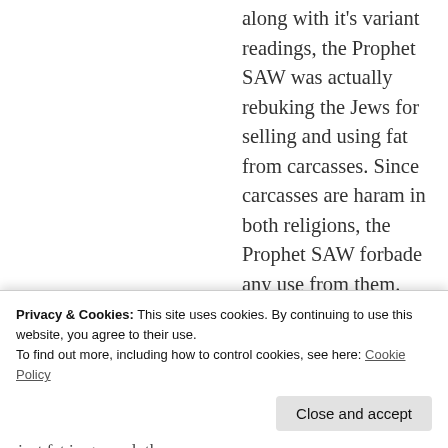along with it's variant readings, the Prophet SAW was actually rebuking the Jews for selling and using fat from carcasses. Since carcasses are haram in both religions, the Prophet SAW forbade any use from them.
★ Liked by 1 person
[Figure (other): Partial avatar/icon image visible at the bottom of the page, partially obscured by cookie banner]
Privacy & Cookies: This site uses cookies. By continuing to use this website, you agree to their use. To find out more, including how to control cookies, see here: Cookie Policy
Close and accept
just fat in general, thus